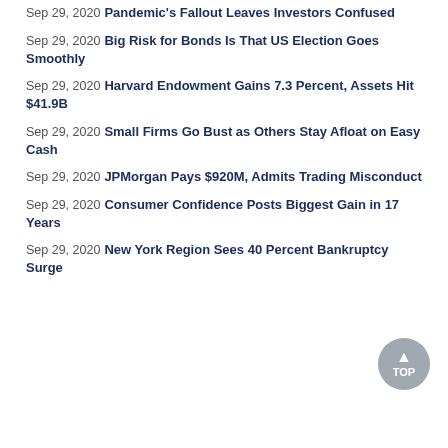Sep 29, 2020 Pandemic's Fallout Leaves Investors Confused
Sep 29, 2020 Big Risk for Bonds Is That US Election Goes Smoothly
Sep 29, 2020 Harvard Endowment Gains 7.3 Percent, Assets Hit $41.9B
Sep 29, 2020 Small Firms Go Bust as Others Stay Afloat on Easy Cash
Sep 29, 2020 JPMorgan Pays $920M, Admits Trading Misconduct
Sep 29, 2020 Consumer Confidence Posts Biggest Gain in 17 Years
Sep 29, 2020 New York Region Sees 40 Percent Bankruptcy Surge